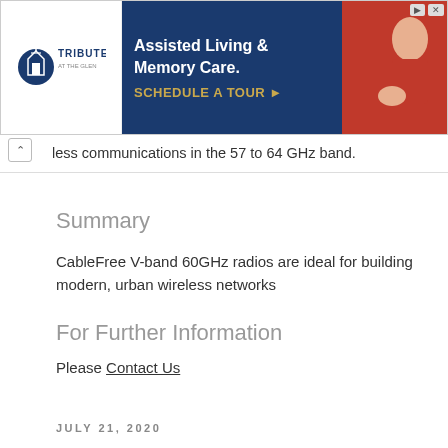[Figure (other): Tribute at the Glen advertisement banner for Assisted Living & Memory Care with Schedule a Tour call-to-action, showing logo on left, text in center on dark blue background, and person with dog on right]
...less communications in the 57 to 64 GHz band.
Summary
CableFree V-band 60GHz radios are ideal for building modern, urban wireless networks
For Further Information
Please Contact Us
JULY 21, 2020